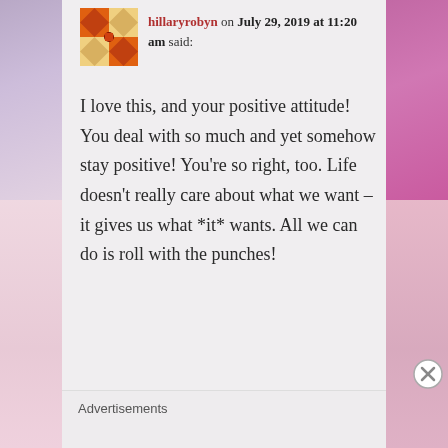[Figure (photo): Orange and white decorative avatar/icon image for user hillaryrobyn]
hillaryrobyn on July 29, 2019 at 11:20 am said:
I love this, and your positive attitude! You deal with so much and yet somehow stay positive! You’re so right, too. Life doesn’t really care about what we want – it gives us what *it* wants. All we can do is roll with the punches!
Advertisements